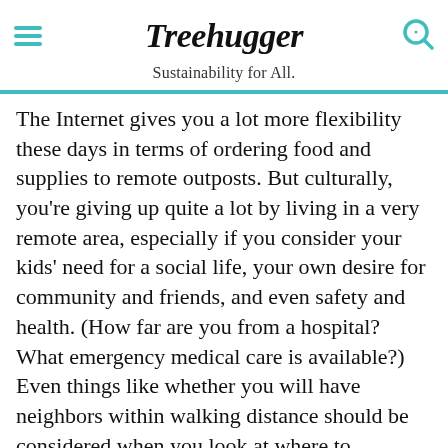Treehugger — Sustainability for All.
The Internet gives you a lot more flexibility these days in terms of ordering food and supplies to remote outposts. But culturally, you're giving up quite a lot by living in a very remote area, especially if you consider your kids' need for a social life, your own desire for community and friends, and even safety and health. (How far are you from a hospital? What emergency medical care is available?) Even things like whether you will have neighbors within walking distance should be considered when you look at where to purchase land.
Oh, and let's not forget road maintenance. Not all land
[Figure (other): Dotdash Meredith advertisement banner with text 'We help people find answers, solve problems and get inspired.']